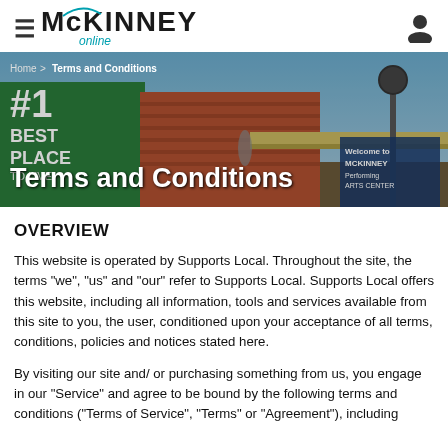McKINNEY online
[Figure (photo): Hero banner image of McKinney downtown area with '#1 BEST PLACE' banner, historic brick buildings, and a clock tower. Breadcrumb: Home > Terms and Conditions. Hero title: Terms and Conditions.]
OVERVIEW
This website is operated by Supports Local. Throughout the site, the terms "we", "us" and "our" refer to Supports Local. Supports Local offers this website, including all information, tools and services available from this site to you, the user, conditioned upon your acceptance of all terms, conditions, policies and notices stated here.
By visiting our site and/ or purchasing something from us, you engage in our "Service" and agree to be bound by the following terms and conditions ("Terms of Service", "Terms" or "Agreement"), including